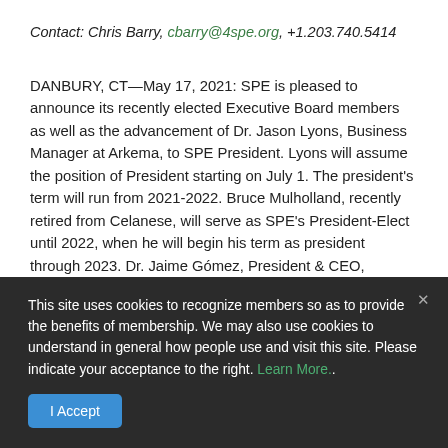Contact: Chris Barry, cbarry@4spe.org, +1.203.740.5414
DANBURY, CT—May 17, 2021: SPE is pleased to announce its recently elected Executive Board members as well as the advancement of Dr. Jason Lyons, Business Manager at Arkema, to SPE President. Lyons will assume the position of President starting on July 1. The president's term will run from 2021-2022. Bruce Mulholland, recently retired from Celanese, will serve as SPE's President-Elect until 2022, when he will begin his term as president through 2023. Dr. Jaime Gómez, President & CEO, Equitech, will serve as SPE's Past President also
This site uses cookies to recognize members so as to provide the benefits of membership. We may also use cookies to understand in general how people use and visit this site. Please indicate your acceptance to the right. Learn More..